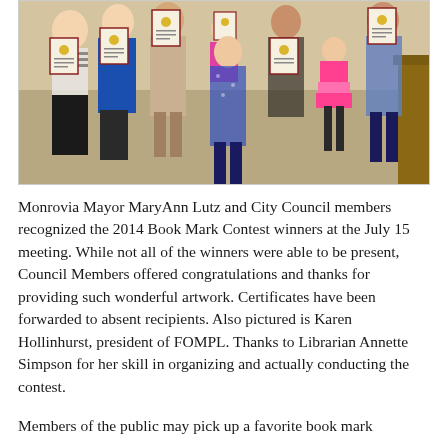[Figure (photo): Group photo of people standing and holding framed certificates/awards, including adults and children, taken indoors at what appears to be a government meeting room.]
Monrovia Mayor MaryAnn Lutz and City Council members recognized the 2014 Book Mark Contest winners at the July 15 meeting. While not all of the winners were able to be present, Council Members offered congratulations and thanks for providing such wonderful artwork. Certificates have been forwarded to absent recipients. Also pictured is Karen Hollinhurst, president of FOMPL. Thanks to Librarian Annette Simpson for her skill in organizing and actually conducting the contest.
Members of the public may pick up a favorite book mark